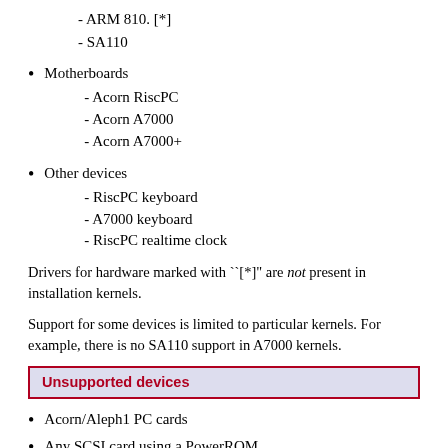- ARM 810. [*]
- SA110
Motherboards
  - Acorn RiscPC
  - Acorn A7000
  - Acorn A7000+
Other devices
  - RiscPC keyboard
  - A7000 keyboard
  - RiscPC realtime clock
Drivers for hardware marked with ``[*]" are not present in installation kernels.
Support for some devices is limited to particular kernels. For example, there is no SA110 support in A7000 kernels.
Unsupported devices
Acorn/Aleph1 PC cards
Any SCSI card using a PowerROM